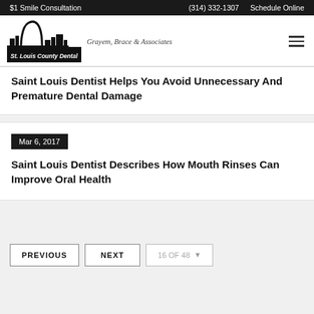$1 Smile Consultation   (314) 332-1307   Schedule Online
[Figure (logo): St. Louis County Dental logo with arch silhouette and text 'Grayem, Brace & Associates']
Saint Louis Dentist Helps You Avoid Unnecessary And Premature Dental Damage
Mar 6, 2017
Saint Louis Dentist Describes How Mouth Rinses Can Improve Oral Health
PREVIOUS   NEXT   16 OF 48